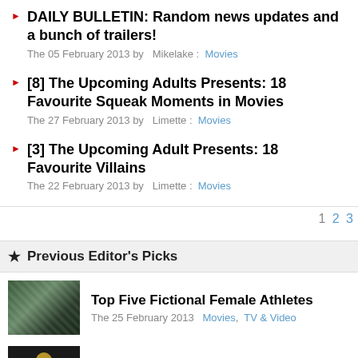DAILY BULLETIN: Random news updates and a bunch of trailers!
The 05 February 2013 by Mikelake : Movies
[8] The Upcoming Adults Presents: 18 Favourite Squeak Moments in Movies
The 27 February 2013 by Limette : Movies
[3] The Upcoming Adult Presents: 18 Favourite Villains
The 22 February 2013 by Limette : Movies
1 2 3
Previous Editor's Picks
Top Five Fictional Female Athletes
The 25 February 2013  Movies, TV & Video
And The Oscar Goes To......
The 25 February 2013  Movies